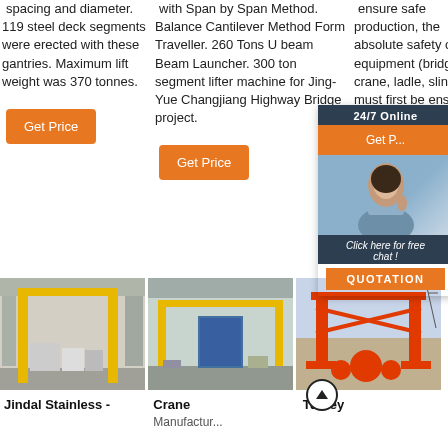spacing and diameter. 119 steel deck segments were erected with these gantries. Maximum lift weight was 370 tonnes.
with Span by Span Method. Balance Cantilever Method Form Traveller. 260 Tons U beam Beam Launcher. 300 ton segment lifter machine for Jing-Yue Changjiang Highway Bridge project.
ensure safe production, the absolute safety of the equipment (bridge crane, ladle, sling) must first be ensured.
[Figure (screenshot): 24/7 Online chat widget with woman customer service photo and QUOTATION button]
[Figure (photo): Industrial warehouse interior with yellow gantry crane structure - Jindal Stainless]
[Figure (photo): Industrial warehouse with yellow overhead bridge crane - Crane Manufacturer]
[Figure (photo): Orange gantry crane outdoors - Turkey Manufacturer]
Jindal Stainless -
Crane Manufactur...
Turkey Manufactu...